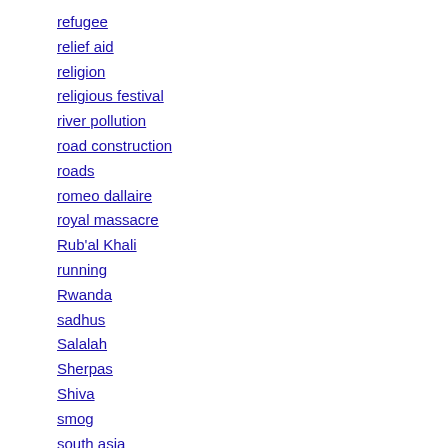refugee
relief aid
religion
religious festival
river pollution
road construction
roads
romeo dallaire
royal massacre
Rub'al Khali
running
Rwanda
sadhus
Salalah
Sherpas
Shiva
smog
south asia
south asian politics